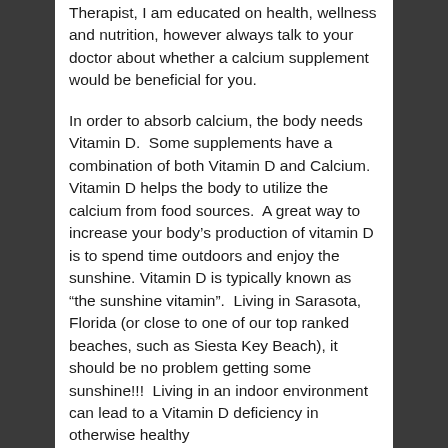Therapist, I am educated on health, wellness and nutrition, however always talk to your doctor about whether a calcium supplement would be beneficial for you.
In order to absorb calcium, the body needs Vitamin D.  Some supplements have a combination of both Vitamin D and Calcium.  Vitamin D helps the body to utilize the calcium from food sources.  A great way to increase your body's production of vitamin D  is to spend time outdoors and enjoy the sunshine. Vitamin D is typically known as “the sunshine vitamin”.  Living in Sarasota, Florida (or close to one of our top ranked beaches, such as Siesta Key Beach), it should be no problem getting some sunshine!!!  Living in an indoor environment can lead to a Vitamin D deficiency in otherwise healthy